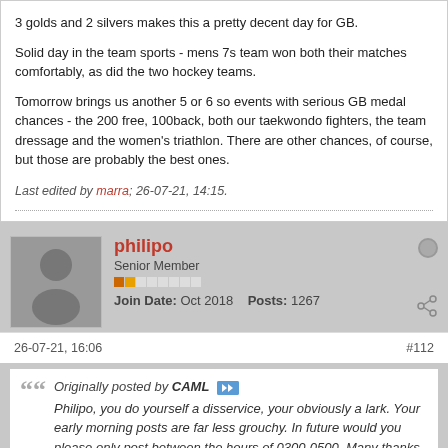3 golds and 2 silvers makes this a pretty decent day for GB.
Solid day in the team sports - mens 7s team won both their matches comfortably, as did the two hockey teams.
Tomorrow brings us another 5 or 6 so events with serious GB medal chances - the 200 free, 100back, both our taekwondo fighters, the team dressage and the women's triathlon. There are other chances, of course, but those are probably the best ones.
Last edited by marra; 26-07-21, 14:15.
philipo — Senior Member — Join Date: Oct 2018 Posts: 1267
26-07-21, 16:06
#112
Originally posted by CAML — Philipo, you do yourself a disservice, your obviously a lark. Your early morning posts are far less grouchy. In future would you please only post between the hours of 0300-0500. Many thanks for your anticipated acquiescence.